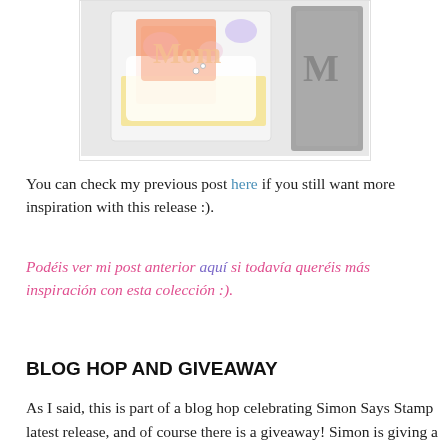[Figure (photo): Photo of handmade greeting cards with floral and letter die-cut designs in pastel colors, alongside a gray embossing die.]
You can check my previous post here if you still want more inspiration with this release :).
Podéis ver mi post anterior aquí si todavía queréis más inspiración con esta colección :).
BLOG HOP AND GIVEAWAY
As I said, this is part of a blog hop celebrating Simon Says Stamp latest release, and of course there is a giveaway! Simon is giving a way a $25 gift card to a lucky winner on each stop of the hop! To participate, you just have to leave a comment, so make sure you visit every blog for more chances to win. Winners will be